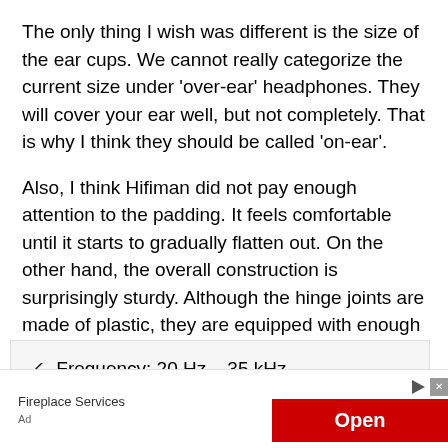The only thing I wish was different is the size of the ear cups. We cannot really categorize the current size under ‘over-ear’ headphones. They will cover your ear well, but not completely. That is why I think they should be called ‘on-ear’.
Also, I think Hifiman did not pay enough attention to the padding. It feels comfortable until it starts to gradually flatten out. On the other hand, the overall construction is surprisingly sturdy. Although the hinge joints are made of plastic, they are equipped with enough thickness.
✓ Frequency: 20 Hz – 35 kHz
✓ Impedance: 350
Fireplace Services
Ad
Open